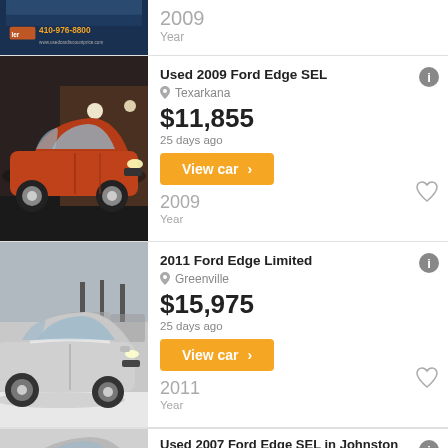[Figure (photo): Partial view of a dealer listing image and badge, top of page, dark blue background with dealer info]
2009
Year
[Figure (photo): Red/orange Ford Edge SEL SUV in a parking lot at night]
Used 2009 Ford Edge SEL
Texarkana
$11,855
25 days ago
View car >
2009
Year
[Figure (photo): Silver Ford Edge Limited SUV parked in snow in a dealership lot]
2011 Ford Edge Limited
Greenville
$15,975
25 days ago
View car >
2011
Year
[Figure (photo): Partial view of a Ford Edge, bottom of page]
Used 2007 Ford Edge SEL in Johnston
Johnston